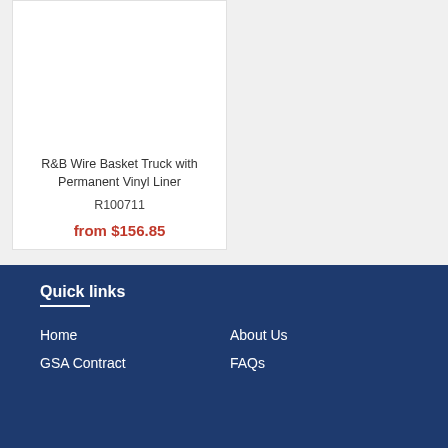R&B Wire Basket Truck with Permanent Vinyl Liner
R100711
from $156.85
Quick links
Home
About Us
GSA Contract
FAQs